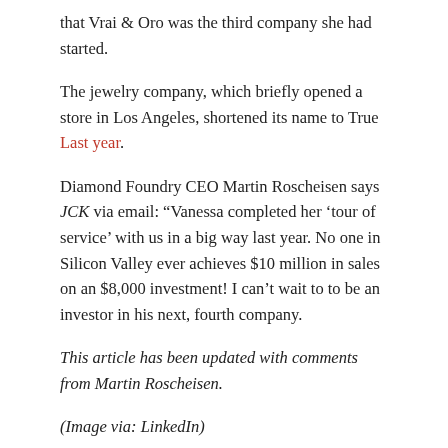that Vrai & Oro was the third company she had started.
The jewelry company, which briefly opened a store in Los Angeles, shortened its name to True Last year.
Diamond Foundry CEO Martin Roscheisen says JCK via email: “Vanessa completed her ‘tour of service’ with us in a big way last year. No one in Silicon Valley ever achieves $10 million in sales on an $8,000 investment! I can’t wait to to be an investor in his next, fourth company.
This article has been updated with comments from Martin Roscheisen.
(Image via: LinkedIn)
Follow JCK on Instagram: @jckmagazine
Follow JCK on Twitter: @jckmagazine